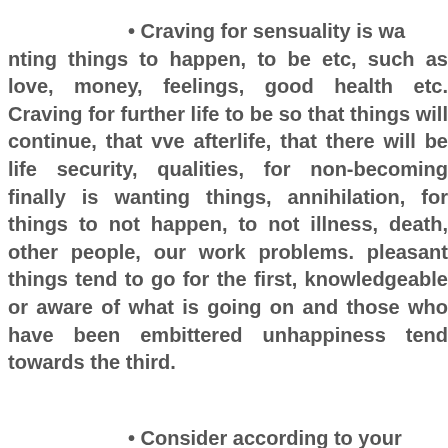• Craving for sensuality is wanting things to happen, to be etc, such as love, money, feelings, good health etc. Craving for further life to be so that things will continue, that we afterlife, that there will be life security, qu for non-becoming finally is wanting things annihilation, for things to not happen, to not illness, death, other people, our work prob pleasant things tend to go for the first, knowledgeable or aware of what is going on and those who have been embittered unhappiness tend towards the third.
• Consider according to your is the basis for this not done, then the...